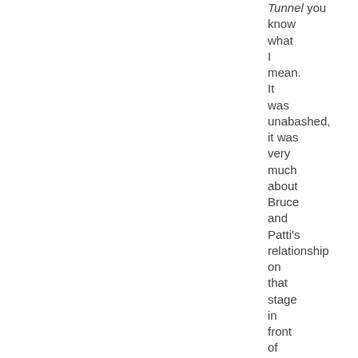Tunnel you know what I mean. It was unabashed, it was very much about Bruce and Patti's relationship on that stage in front of 18,000 people. Next